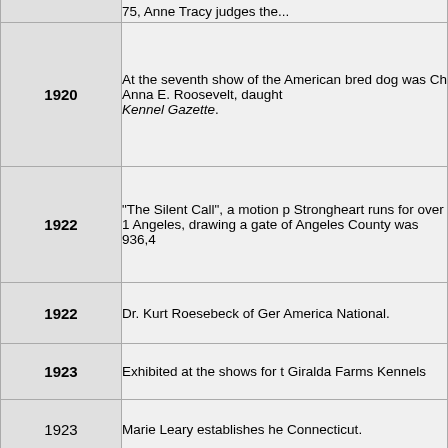| Year | Event |
| --- | --- |
|  | 75, Anne Tracy judges the... |
| 1920 | At the seventh show of the American bred dog was Ch Anna E. Roosevelt, daughte Kennel Gazette. |
| 1922 | "The Silent Call", a motion p Strongheart runs for over 1 Angeles, drawing a gate of Angeles County was 936,4 |
| 1922 | Dr. Kurt Roesebeck of Ger America National. |
| 1923 | Exhibited at the shows for t Giralda Farms Kennels |
| 1923 | Marie Leary establishes he Connecticut. |
| 1923 | The Shepherd Dog Club of |
| 1924 | The initial issue of the Shep 1924. |